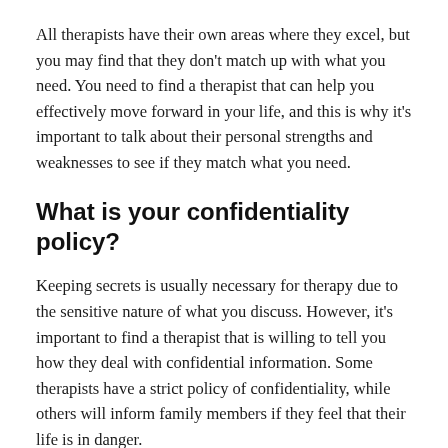All therapists have their own areas where they excel, but you may find that they don't match up with what you need. You need to find a therapist that can help you effectively move forward in your life, and this is why it's important to talk about their personal strengths and weaknesses to see if they match what you need.
What is your confidentiality policy?
Keeping secrets is usually necessary for therapy due to the sensitive nature of what you discuss. However, it's important to find a therapist that is willing to tell you how they deal with confidential information. Some therapists have a strict policy of confidentiality, while others will inform family members if they feel that their life is in danger.